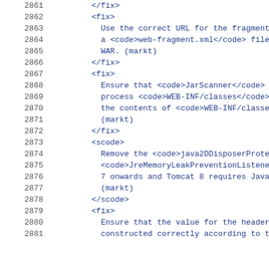2861    </fix>
2862    <fix>
2863      Use the correct URL for the fragment wh
2864      a <web-fragment.xml> file fr
2865      WAR. (markt)
2866    </fix>
2867    <fix>
2868      Ensure that <JarScanner> onl
2869      process <WEB-INF/classes> an
2870      the contents of <WEB-INF/classes<
2871      (markt)
2872    </fix>
2873    <scode>
2874      Remove the <java2DDisposerProtecti
2875      <JreMemoryLeakPreventionListener<
2876      7 onwards and Tomcat 8 requires Java 7
2877      (markt)
2878    </scode>
2879    <fix>
2880      Ensure that the value for the header <c
2881      constructed correctly according to the